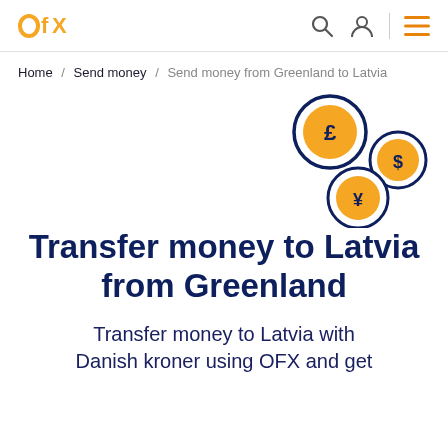OFX — Home / Send money / Send money from Greenland to Latvia
Home / Send money / Send money from Greenland to Latvia
[Figure (illustration): Three currency coin circles: pound (£), dollar ($), and yen (¥) icons arranged in a cluster on the right side of the page]
Transfer money to Latvia from Greenland
Transfer money to Latvia with Danish kroner using OFX and get